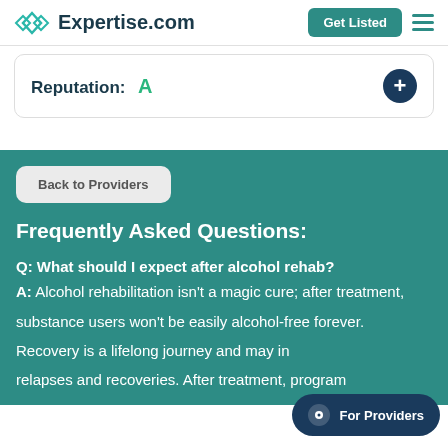Expertise.com — Get Listed
Reputation: A
Back to Providers
Frequently Asked Questions:
Q: What should I expect after alcohol rehab?
A: Alcohol rehabilitation isn't a magic cure; after treatment, substance users won't be easily alcohol-free forever. Recovery is a lifelong journey and may involve relapses and recoveries. After treatment, program
For Providers